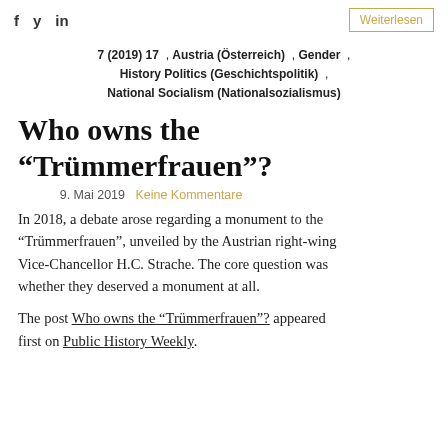f  y  in    Weiterlesen
7 (2019) 17 , Austria (Österreich) , Gender , History Politics (Geschichtspolitik) , National Socialism (Nationalsozialismus)
Who owns the “Trümmerfrauen”?
9. Mai 2019   Keine Kommentare
In 2018, a debate arose regarding a monument to the “Trümmerfrauen”, unveiled by the Austrian right-wing Vice-Chancellor H.C. Strache. The core question was whether they deserved a monument at all.
The post Who owns the “Trümmerfrauen”? appeared first on Public History Weekly.